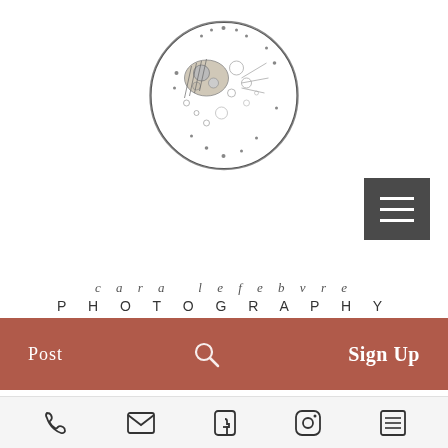[Figure (logo): Circular illustrated logo with detailed moon/earth botanical illustration in black and white line art style]
[Figure (other): Hamburger menu button - dark grey square with three horizontal white lines]
cara lefebvre
PHOTOGRAPHY
[Figure (other): Navigation bar in terracotta/rust red color containing: Post (left), search icon (center), Sign Up (right)]
Cara LeFebvre 👑
Aug 6, 2018 • 2 min
[Figure (other): Footer bar with social media icons: phone, email/envelope, Facebook, Instagram, list/menu icon]